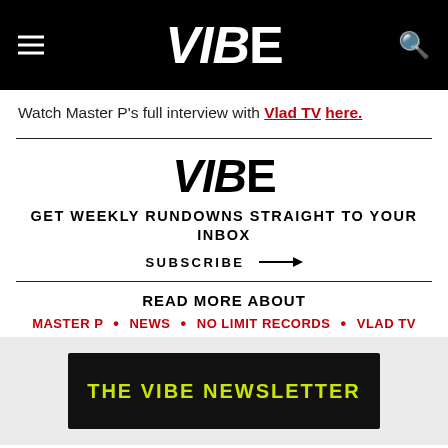VIBE
Watch Master P’s full interview with Vlad TV here.
[Figure (logo): VIBE magazine logo in large bold italic black text]
GET WEEKLY RUNDOWNS STRAIGHT TO YOUR INBOX
SUBSCRIBE →
READ MORE ABOUT
MASTER P • NEWS • NO LIMIT RECORDS • VLAD TV
[Figure (other): Dark newsletter signup card with yellow text reading THE VIBE NEWSLETTER on gray background]